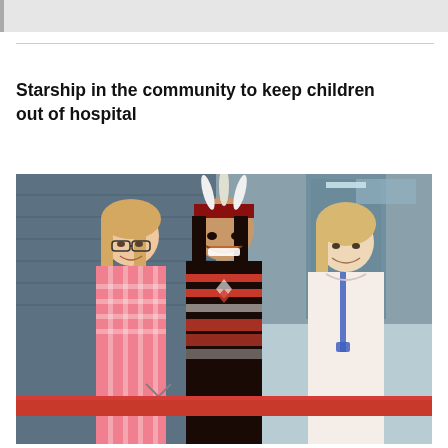Starship in the community to keep children out of hospital
[Figure (photo): Three women smiling at a ribbon-cutting ceremony outside a building. The woman on the left wears a pink checkered jacket and glasses; the woman in the center wears traditional Māori attire with a feathered headband; the woman on the right has blonde hair and wears a white shirt with a blue lanyard. There is a red ribbon stretched in front of them at waist height.]